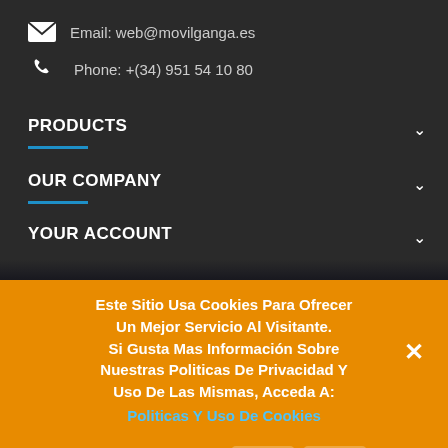Email: web@movilganga.es
Phone: +(34) 951 54 10 80
PRODUCTS
OUR COMPANY
YOUR ACCOUNT
Este Sitio Usa Cookies Para Ofrecer Un Mejor Servicio Al Visitante. Si Gusta Mas Información Sobre Nuestras Politicas De Privacidad Y Uso De Las Mismas, Acceda A: Politicas Y Uso De Cookies